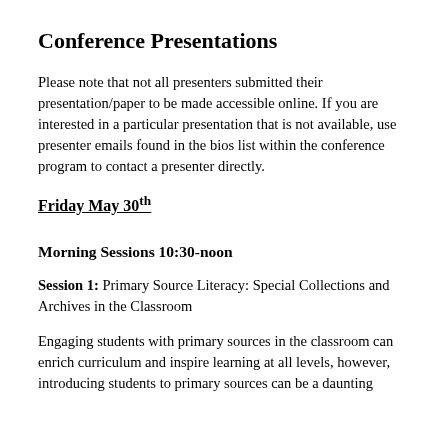Conference Presentations
Please note that not all presenters submitted their presentation/paper to be made accessible online. If you are interested in a particular presentation that is not available, use presenter emails found in the bios list within the conference program to contact a presenter directly.
Friday May 30th
Morning Sessions 10:30-noon
Session 1: Primary Source Literacy: Special Collections and Archives in the Classroom
Engaging students with primary sources in the classroom can enrich curriculum and inspire learning at all levels, however, introducing students to primary sources can be a daunting